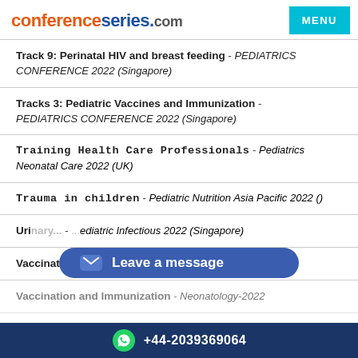conferenceseries.com
Track 9: Perinatal HIV and breast feeding - PEDIATRICS CONFERENCE 2022 (Singapore)
Tracks 3: Pediatric Vaccines and Immunization - PEDIATRICS CONFERENCE 2022 (Singapore)
Training Health Care Professionals - Pediatrics Neonatal Care 2022 (UK)
Trauma in children - Pediatric Nutrition Asia Pacific 2022 ()
Urinary... - ...Pediatric Infectious 2022 (Singapore)
Vaccination and Immunization - Neonatology-2022 (UAE)
Vaccination and Immunization - Neonatology-2022 ...
+44-2039369064